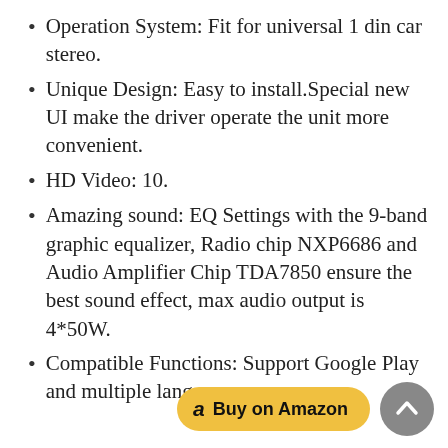Operation System: Fit for universal 1 din car stereo.
Unique Design: Easy to install.Special new UI make the driver operate the unit more convenient.
HD Video: 10.
Amazing sound: EQ Settings with the 9-band graphic equalizer, Radio chip NXP6686 and Audio Amplifier Chip TDA7850 ensure the best sound effect, max audio output is 4*50W.
Compatible Functions: Support Google Play and multiple languages.